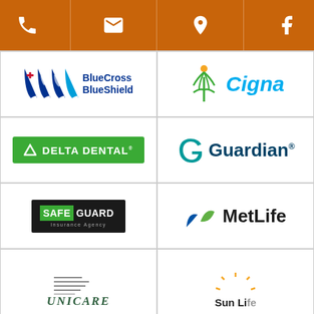[Figure (logo): Orange toolbar with phone, email, location, and Facebook icons]
[Figure (logo): BlueCross BlueShield logo with two shield icons and bold blue text]
[Figure (logo): Cigna logo with green tree/person icon and blue italic text]
[Figure (logo): Delta Dental logo - white text on green rectangle with triangle icon]
[Figure (logo): Guardian logo with teal G icon and dark blue bold text]
[Figure (logo): SafeGuard Insurance Agency logo - white text on dark background with green SAFE highlight]
[Figure (logo): MetLife logo with blue and green leaf/wing shapes and bold black text]
[Figure (logo): UniCare logo with horizontal lines graphic and serif italic text]
[Figure (logo): Sun Life logo with partial sun graphic and bold text (partially cropped)]